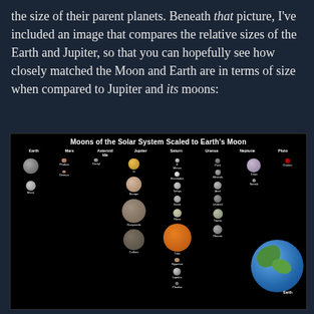the size of their parent planets. Beneath that picture, I've included an image that compares the relative sizes of the Earth and Jupiter, so that you can hopefully see how closely matched the Moon and Earth are in terms of size when compared to Jupiter and its moons:
[Figure (infographic): Infographic titled 'Moons of the Solar System Scaled to Earth's Moon' showing moons of Earth, Mars, Asteroid Ida, Jupiter, Saturn, Uranus, Neptune, and Pluto displayed at relative sizes, with Earth shown large at bottom right for scale.]